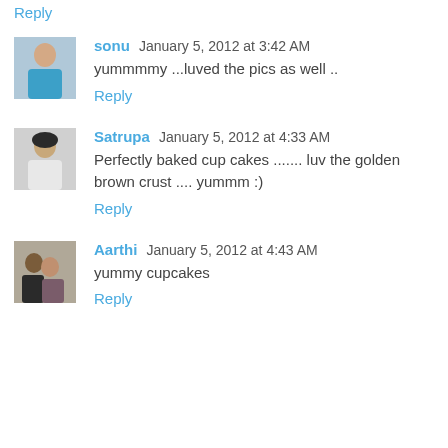Reply
sonu  January 5, 2012 at 3:42 AM
yummmmy ...luved the pics as well ..
Reply
Satrupa  January 5, 2012 at 4:33 AM
Perfectly baked cup cakes ....... luv the golden brown crust .... yummm :)
Reply
Aarthi  January 5, 2012 at 4:43 AM
yummy cupcakes
Reply